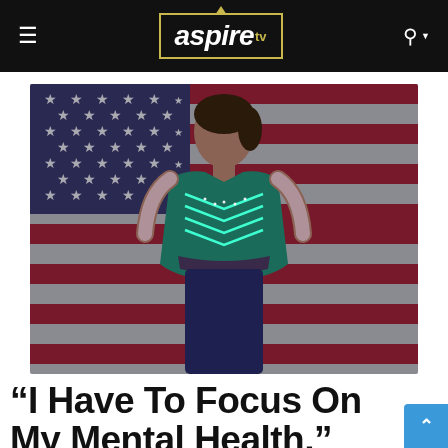aspire tv
[Figure (photo): Simone Biles in a teal/green rhinestone gymnastics leotard standing in front of a large American flag backdrop, looking upward with a focused expression.]
“I Have To Focus On My Mental Health,” Simone Bil...